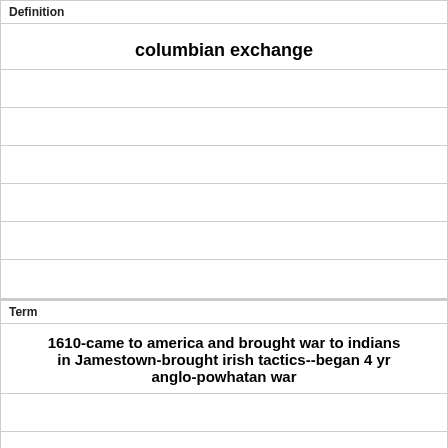Definition
columbian exchange
Term
1610-came to america and brought war to indians in Jamestown-brought irish tactics--began 4 yr anglo-powhatan war